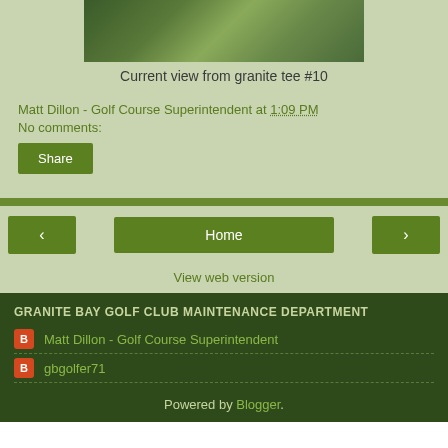[Figure (photo): Landscape photo of golf course view from granite tee #10, showing green fairway with golden light]
Current view from granite tee #10
Matt Dillon - Golf Course Superintendent at 1:09 PM
No comments:
Share
Home
View web version
GRANITE BAY GOLF CLUB MAINTENANCE DEPARTMENT
Matt Dillon - Golf Course Superintendent
gbgolfer71
Powered by Blogger.